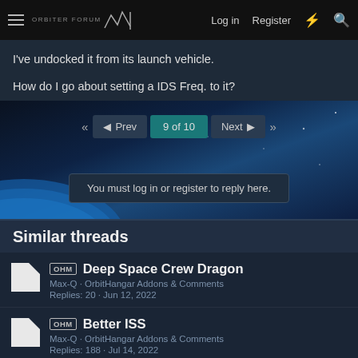Orbiter Forum — Log in  Register
I've undocked it from its launch vehicle.
How do I go about setting a IDS Freq. to it?
[Figure (screenshot): Pagination navigation bar showing Prev, 9 of 10, Next buttons with double arrows, and a login notice reading 'You must log in or register to reply here.' overlaid on a space/planet background image.]
Similar threads
[OHM] Deep Space Crew Dragon — Max-Q · OrbitHangar Addons & Comments — Replies: 20 · Jun 12, 2022
[OHM] Better ISS — Max-Q · OrbitHangar Addons & Comments — Replies: 188 · Jul 14, 2022